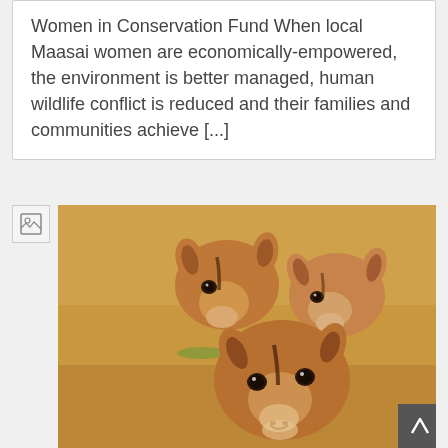Women in Conservation Fund When local Maasai women are economically-empowered, the environment is better managed, human wildlife conflict is reduced and their families and communities achieve [...]
[Figure (photo): Close-up photograph of three impalas (antelopes) with tan/brown coats, looking toward the camera against a golden-brown savanna background.]